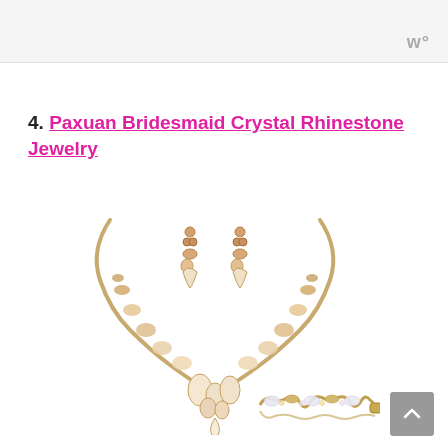w°
4. Paxuan Bridesmaid Crystal Rhinestone Jewelry
[Figure (photo): Product photo of Paxuan Bridesmaid Crystal Rhinestone Jewelry set showing a gold-tone necklace with champagne crystal stones in a V-shape design, matching drop earrings with teardrop crystals, and a rhinestone bracelet with infinity-style links.]